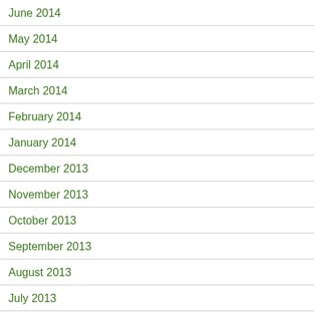June 2014
May 2014
April 2014
March 2014
February 2014
January 2014
December 2013
November 2013
October 2013
September 2013
August 2013
July 2013
June 2013